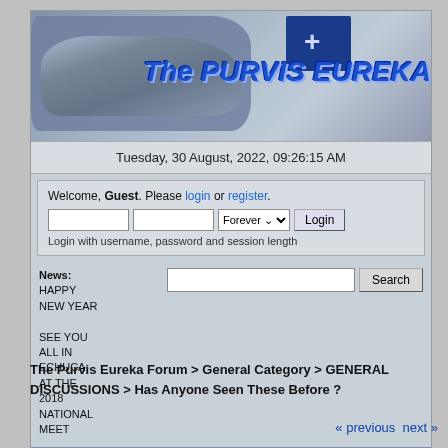[Figure (screenshot): Website banner for The Purvis Eureka Forum showing a stylized silver sports car on a blue-grey background with a blue flag bearing a white cross, and italic bold blue text reading 'The PURVIS EUREKA']
Tuesday, 30 August, 2022, 09:26:15 AM
Welcome, Guest. Please login or register. Login with username, password and session length
News: HAPPY NEW YEAR

SEE YOU ALL IN ECHUCA AT THE 2018 NATIONAL MEET
HOME    HELP    LOGIN    REGISTER
The Purvis Eureka Forum > General Category > GENERAL DISCUSSIONS > Has Anyone Seen These Before ?
« previous  next »